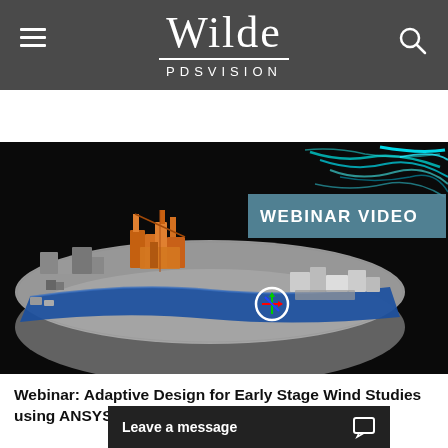Wilde PDSVISION
Resources
[Figure (screenshot): 3D simulation rendering showing an industrial facility model with CFD wind flow visualization in blue and cyan over a circular base platform, with orange structural components. A 'WEBINAR VIDEO' badge is overlaid in the top-right corner.]
Webinar: Adaptive Design for Early Stage Wind Studies using ANSYS
Leave a message